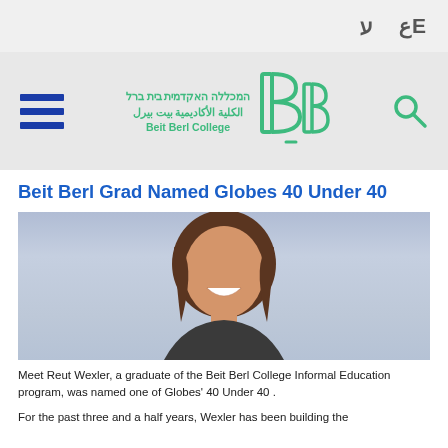ע ع E
[Figure (logo): Beit Berl College navigation bar with hamburger menu, Hebrew and Arabic college name, stylized BB logo in green, and search icon]
Beit Berl Grad Named Globes 40 Under 40
[Figure (photo): Portrait photo of Reut Wexler, a young woman with brown hair, smiling, against a light blue-grey background]
Meet Reut Wexler, a graduate of the Beit Berl College Informal Education program, was named one of Globes' 40 Under 40 .
For the past three and a half years, Wexler has been building the